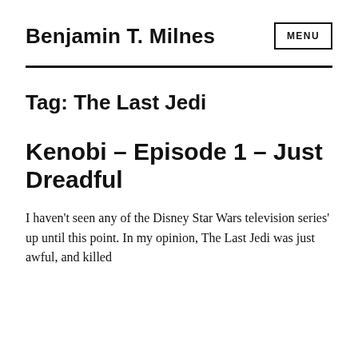Benjamin T. Milnes
Tag: The Last Jedi
Kenobi – Episode 1 – Just Dreadful
I haven't seen any of the Disney Star Wars television series' up until this point. In my opinion, The Last Jedi was just awful, and killed